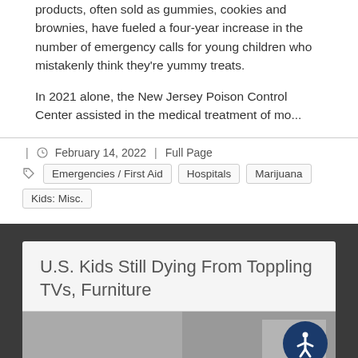products, often sold as gummies, cookies and brownies, have fueled a four-year increase in the number of emergency calls for young children who mistakenly think they're yummy treats.
In 2021 alone, the New Jersey Poison Control Center assisted in the medical treatment of mo...
February 14, 2022 | Full Page
Emergencies / First Aid
Hospitals
Marijuana
Kids: Misc.
U.S. Kids Still Dying From Toppling TVs, Furniture
[Figure (photo): Partial view of a room with a TV or furniture, mostly cut off at the bottom of the page]